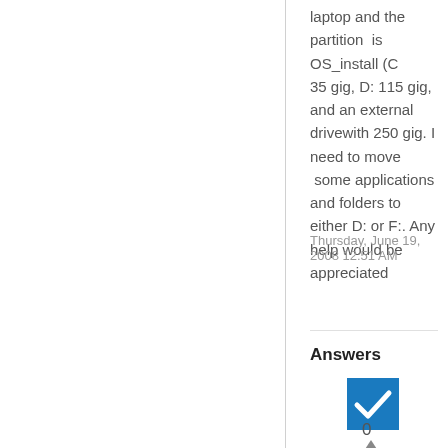laptop and the partition  is OS_install (C        35 gig, D: 115 gig, and an external drivewith 250 gig. I need to move  some applications and folders to either D: or F:. Any help would be appreciated
Thursday, June 19, 2008 12:51 AM
Answers
[Figure (other): Blue checkbox with white checkmark indicating accepted answer]
[Figure (other): Upvote arrow triangle]
0